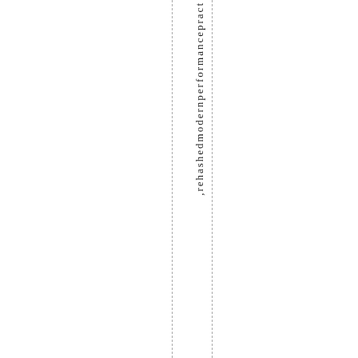rehashedmodernperformancepract